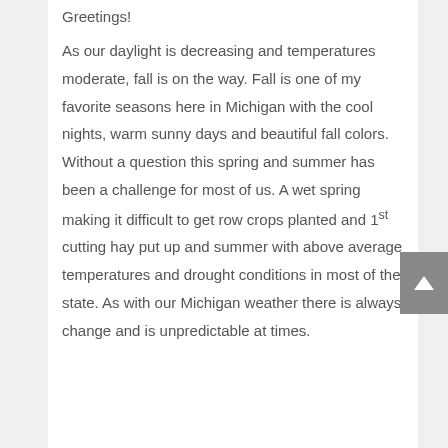Greetings!
As our daylight is decreasing and temperatures moderate, fall is on the way. Fall is one of my favorite seasons here in Michigan with the cool nights, warm sunny days and beautiful fall colors. Without a question this spring and summer has been a challenge for most of us. A wet spring making it difficult to get row crops planted and 1st cutting hay put up and summer with above average temperatures and drought conditions in most of the state. As with our Michigan weather there is always change and is unpredictable at times.